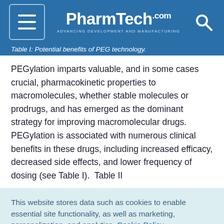PharmTech.com — ADVANCING DEVELOPMENT AND MANUFACTURING
Table I: Potential benefits of PEG technology.
PEGylation imparts valuable, and in some cases crucial, pharmacokinetic properties to macromolecules, whether stable molecules or prodrugs, and has emerged as the dominant strategy for improving macromolecular drugs. PEGylation is associated with numerous clinical benefits in these drugs, including increased efficacy, decreased side effects, and lower frequency of dosing (see Table I). Table II
This website stores data such as cookies to enable essential site functionality, as well as marketing, personalization, and analytics. Cookie Policy
Accept
Deny